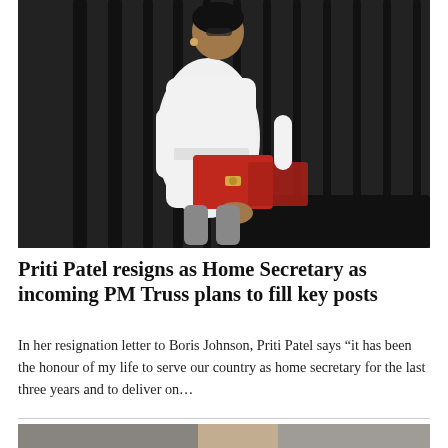[Figure (photo): Priti Patel in a white dress holding a red ministerial box, standing in front of a black iron fence at 10 Downing Street]
Priti Patel resigns as Home Secretary as incoming PM Truss plans to fill key posts
In her resignation letter to Boris Johnson, Priti Patel says “it has been the honour of my life to serve our country as home secretary for the last three years and to deliver on…
[Figure (photo): Partial image of a second news story, showing a blurred scene]